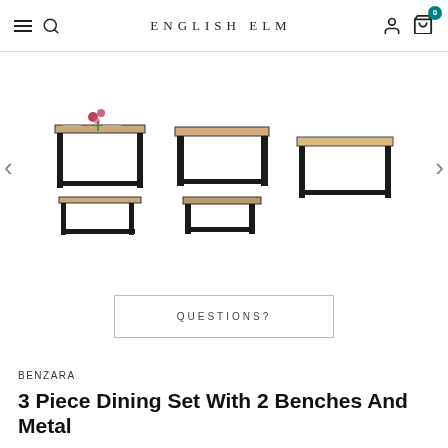ENGLISH ELM
[Figure (photo): Three product images of a dining set with black metal frame: left shows table with bench and flowers, center shows table with bench, right shows just the table. Navigation arrows on each side.]
QUESTIONS?
BENZARA
3 Piece Dining Set With 2 Benches And Metal